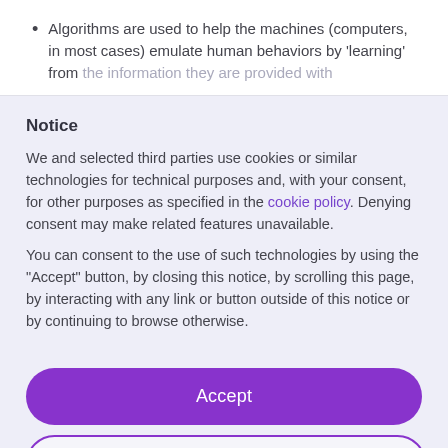Algorithms are used to help the machines (computers, in most cases) emulate human behaviors by 'learning' from the information they are provided with
Notice
We and selected third parties use cookies or similar technologies for technical purposes and, with your consent, for other purposes as specified in the cookie policy. Denying consent may make related features unavailable.
You can consent to the use of such technologies by using the “Accept” button, by closing this notice, by scrolling this page, by interacting with any link or button outside of this notice or by continuing to browse otherwise.
Accept
Deny